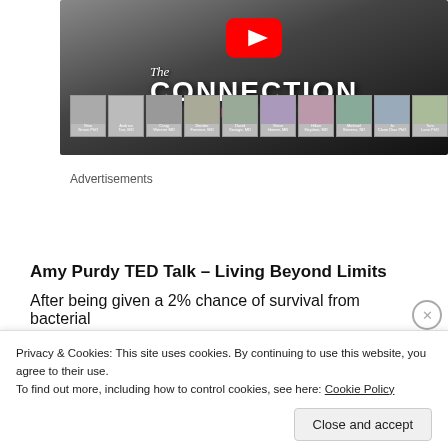[Figure (screenshot): YouTube video thumbnail for 'The Connection – Mind Your Body' documentary, showing a dark gradient background with white bold text 'CONNECTION', italic script 'The', red subtitle 'Mind Your Body.', a YouTube play button, and a row of portrait photos of speakers with their names below.]
Advertisements
[Figure (screenshot): WordPress.com advertisement banner with blue background, WordPress logo and 'WordPress.com' text on the left, and a pink 'Build Your Website' button on the right.]
Amy Purdy TED Talk – Living Beyond Limits
After being given a 2% chance of survival from bacterial
Privacy & Cookies: This site uses cookies. By continuing to use this website, you agree to their use.
To find out more, including how to control cookies, see here: Cookie Policy
Close and accept